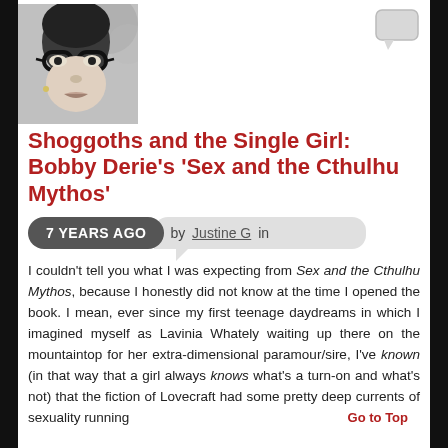[Figure (photo): Black and white photo of a person with glasses, partial face visible from nose up]
[Figure (other): Chat/comment icon in light gray]
Shoggoths and the Single Girl: Bobby Derie’s ‘Sex and the Cthulhu Mythos’
7 YEARS AGO  by Justine G in
I couldn’t tell you what I was expecting from Sex and the Cthulhu Mythos, because I honestly did not know at the time I opened the book. I mean, ever since my first teenage daydreams in which I imagined myself as Lavinia Whately waiting up there on the mountaintop for her extra-dimensional paramour/sire, I’ve known (in that way that a girl always knows what’s a turn-on and what’s not) that the fiction of Lovecraft had some pretty deep currents of sexuality running
Go to Top